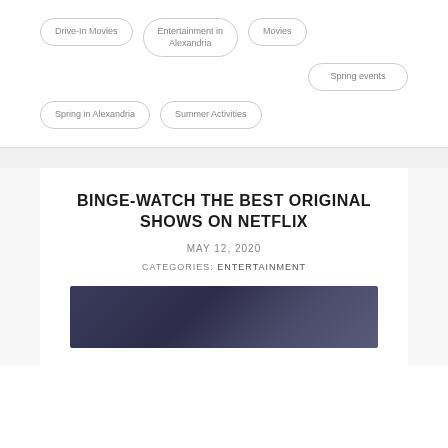Drive-In Movies
Entertainment in Alexandria
Movies
Spring events
Spring in Alexandria
Summer Activities
BINGE-WATCH THE BEST ORIGINAL SHOWS ON NETFLIX
MAY 12, 2020
CATEGORIES: ENTERTAINMENT
[Figure (photo): Dark blue/purple textured background image, appears to be a moody cinematic still]